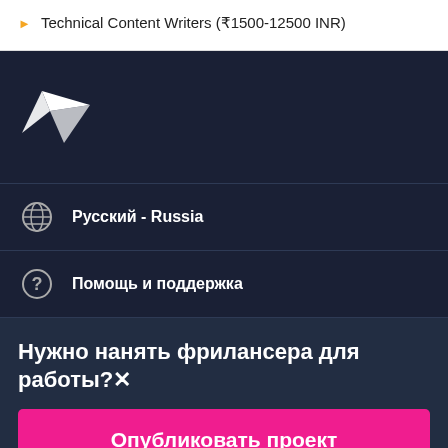Technical Content Writers (₹1500-12500 INR)
[Figure (logo): Freelancer bird logo icon in white on dark navy background]
Русский - Russia
Помощь и поддержка
Нужно нанять фрилансера для работы?×
Опубликовать проект